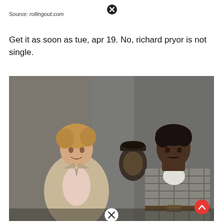Source: rollingout.com
Get it as soon as tue, apr 19. No, richard pryor is not single.
[Figure (photo): A still from a movie or TV show featuring three men in an indoor setting. On the left, a light-skinned man with curly hair wearing a beige suit and pink shirt. In the center background, a man in a dark hat. On the right, a Black man with a mustache wearing a plaid shirt and white undershirt. The setting appears to be a corridor or institutional hallway with gray walls.]